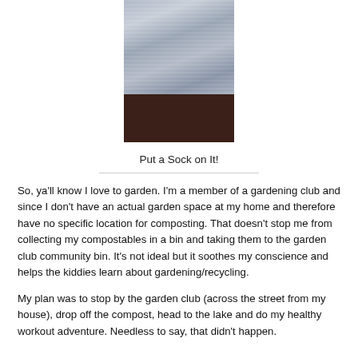[Figure (photo): A blue-grey knitted sock or knit fabric piece standing upright on a dark brown wooden table, photographed from above/front.]
Put a Sock on It!
So, ya'll know I love to garden. I'm a member of a gardening club and since I don't have an actual garden space at my home and therefore have no specific location for composting. That doesn't stop me from collecting my compostables in a bin and taking them to the garden club community bin. It's not ideal but it soothes my conscience and helps the kiddies learn about gardening/recycling.
My plan was to stop by the garden club (across the street from my house), drop off the compost, head to the lake and do my healthy workout adventure. Needless to say, that didn't happen.